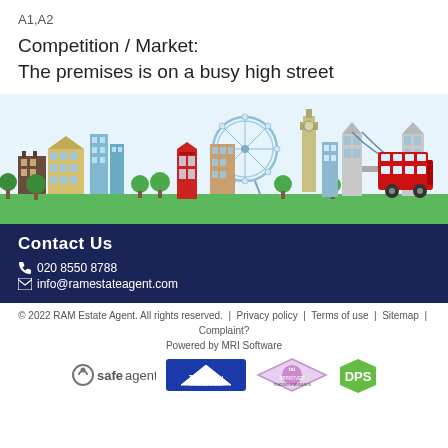A1,A2
Competition / Market:
The premises is on a busy high street
[Figure (illustration): London skyline illustration with buildings, London Eye, Big Ben, Tower Bridge, red telephone box, red double-decker bus, and trees along a green lawn.]
Contact Us
020 8550 8788
info@ramestateagent.com
© 2022 RAM Estate Agent. All rights reserved. | Privacy policy | Terms of use | Sitemap | Complaint?
Powered by MRI Software
[Figure (logo): safeagent logo]
[Figure (logo): The Property Ombudsman logo]
[Figure (logo): TSI Approved Code logo]
[Figure (logo): DPS logo]